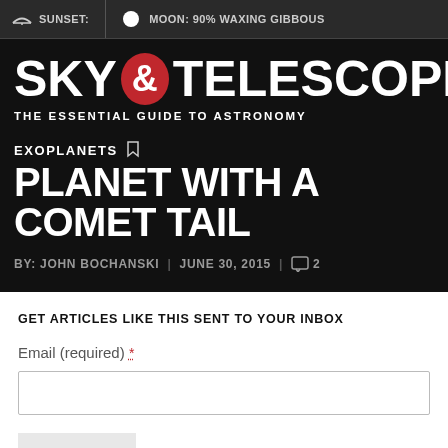SUNSET: | MOON: 90% WAXING GIBBOUS
SKY & TELESCOPE
THE ESSENTIAL GUIDE TO ASTRONOMY
EXOPLANETS
PLANET WITH A COMET TAIL
BY: JOHN BOCHANSKI | JUNE 30, 2015 | 2
GET ARTICLES LIKE THIS SENT TO YOUR INBOX
Email (required) *
SIGN UP